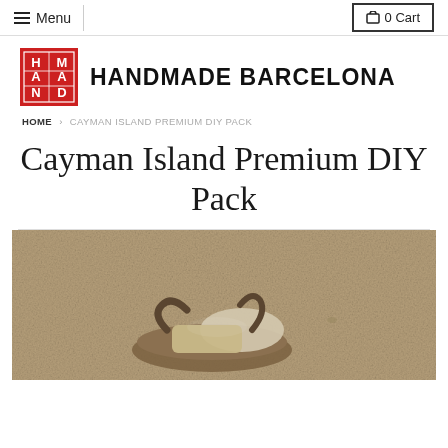≡ Menu  |  🛒 0 Cart
[Figure (logo): Handmade Barcelona brand logo: red square with H, M, A, N, D, E letters arranged in a grid, next to bold text HANDMADE BARCELONA]
HOME › CAYMAN ISLAND PREMIUM DIY PACK
Cayman Island Premium DIY Pack
[Figure (photo): Espadrille sandals on sandy beach background, viewed from above]